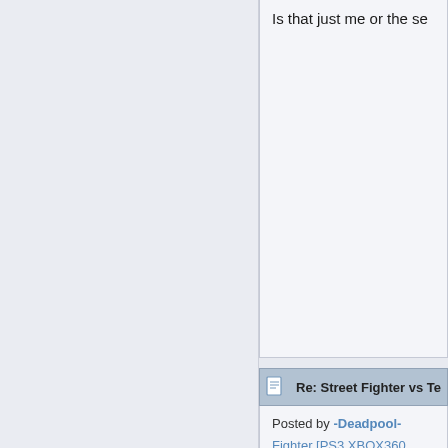Is that just me or the se
Re: Street Fighter vs Te
Posted by -Deadpool- | Fighter [PS3 XBOX360 | Board: Fighting Gam
You know, they could h already...
Re: Marvel vs. Capcom